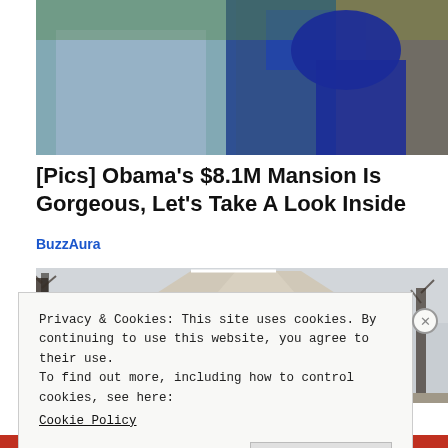[Figure (photo): Photo of two people, a man in a blue checked shirt and a woman in a blue top, outdoors with greenery in the background]
[Pics] Obama's $8.1M Mansion Is Gorgeous, Let's Take A Look Inside
BuzzAura
[Figure (photo): Photo of a beige/tan house exterior with horizontal siding, a gabled roof with white trim, bare trees on the left and right, overcast sky in background]
Privacy & Cookies: This site uses cookies. By continuing to use this website, you agree to their use.
To find out more, including how to control cookies, see here:
Cookie Policy
Close and accept